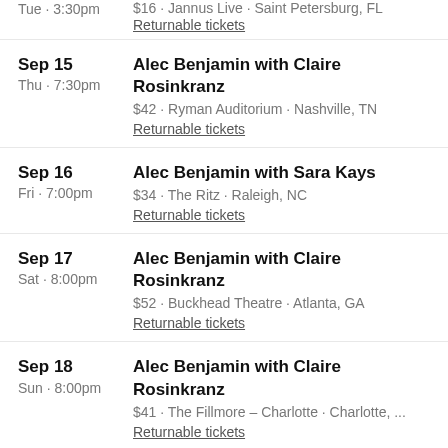Tue · 3:30pm  $16 · Jannus Live · Saint Petersburg, FL  Returnable tickets
Sep 15 Thu · 7:30pm  Alec Benjamin with Claire Rosinkranz  $42 · Ryman Auditorium · Nashville, TN  Returnable tickets
Sep 16 Fri · 7:00pm  Alec Benjamin with Sara Kays  $34 · The Ritz · Raleigh, NC  Returnable tickets
Sep 17 Sat · 8:00pm  Alec Benjamin with Claire Rosinkranz  $52 · Buckhead Theatre · Atlanta, GA  Returnable tickets
Sep 18 Sun · 8:00pm  Alec Benjamin with Claire Rosinkranz  $41 · The Fillmore – Charlotte · Charlotte, ...  Returnable tickets
Sep 20 Tue · 8:00pm  Alec Benjamin with Claire Rosinkranz  $21 · The Met Philadelphia · Philadelphia, P...